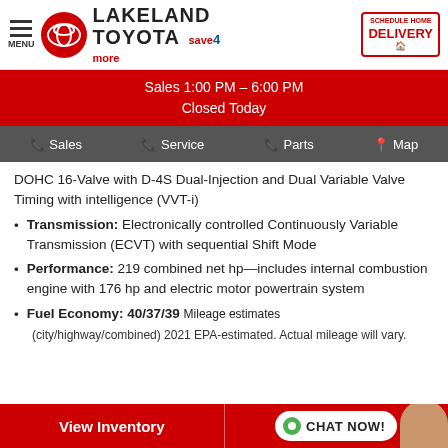[Figure (logo): Lakeland Toyota dealership header with Toyota logo, Save4More badge, and Schedule Home Delivery badge]
Sales 1:00 PM – 6:00 PM
Closed Today
Sales | Service | Parts | Map navigation bar
DOHC 16-Valve with D-4S Dual-Injection and Dual Variable Valve Timing with intelligence (VVT-i)
Transmission: Electronically controlled Continuously Variable Transmission (ECVT) with sequential Shift Mode
Performance: 219 combined net hp—includes internal combustion engine with 176 hp and electric motor powertrain system
Fuel Economy: 40/37/39 Mileage estimates
(city/highway/combined) 2021 EPA-estimated. Actual mileage will vary.
View Inventory | CHAT NOW!